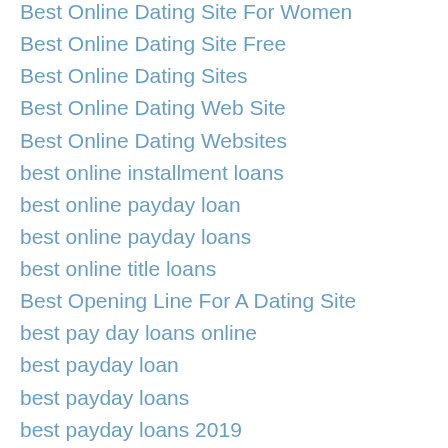Best Online Dating Site For Women
Best Online Dating Site Free
Best Online Dating Sites
Best Online Dating Web Site
Best Online Dating Websites
best online installment loans
best online payday loan
best online payday loans
best online title loans
Best Opening Line For A Dating Site
best pay day loans online
best payday loan
best payday loans
best payday loans 2019
best payday loans online
best paydayloan
Best Payout online gambling
Best Rated Dating Site